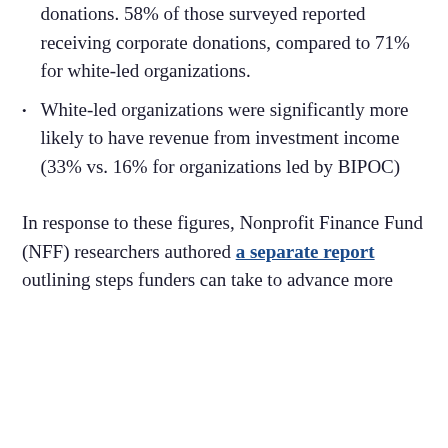donations. 58% of those surveyed reported receiving corporate donations, compared to 71% for white-led organizations.
White-led organizations were significantly more likely to have revenue from investment income (33% vs. 16% for organizations led by BIPOC)
In response to these figures, Nonprofit Finance Fund (NFF) researchers authored a separate report outlining steps funders can take to advance more